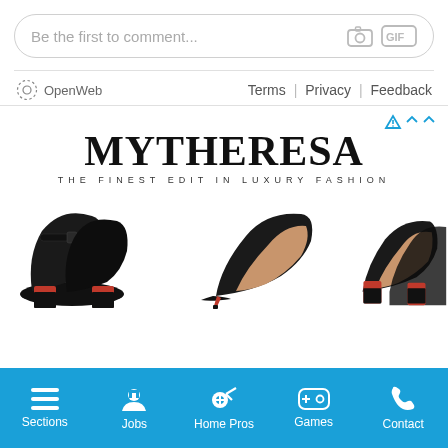Be the first to comment...
OpenWeb  Terms | Privacy | Feedback
[Figure (advertisement): Mytheresa luxury fashion advertisement showing logo 'MYTHERESA - THE FINEST EDIT IN LUXURY FASHION' and three pairs of black high-heeled shoes (Christian Louboutin style with red soles)]
Sections  Jobs  Home Pros  Games  Contact